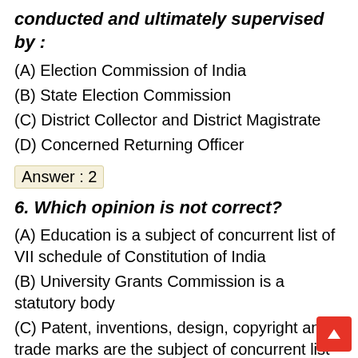conducted and ultimately supervised by :
(A) Election Commission of India
(B) State Election Commission
(C) District Collector and District Magistrate
(D) Concerned Returning Officer
Answer : 2
6. Which opinion is not correct?
(A) Education is a subject of concurrent list of VII schedule of Constitution of India
(B) University Grants Commission is a statutory body
(C) Patent, inventions, design, copyright and trade marks are the subject of concurrent list
(D) Indian Council of Social Science Research a statutory body related to research in social